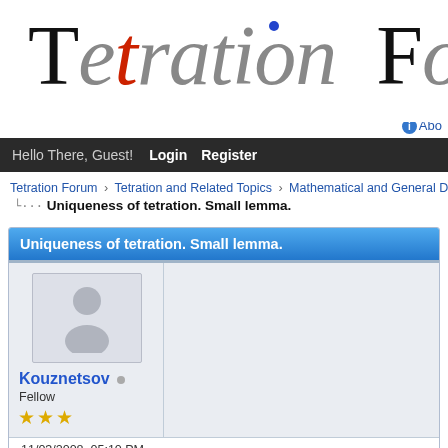Tetration For
About
Hello There, Guest! Login Register
Tetration Forum › Tetration and Related Topics › Mathematical and General Discus...
Uniqueness of tetration. Small lemma.
Uniqueness of tetration. Small lemma.
Kouznetsov  Fellow ★★★
11/03/2008, 05:10 PM